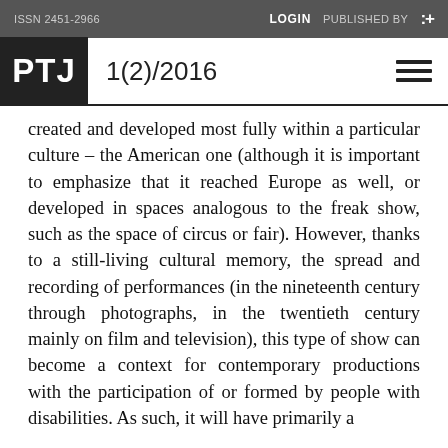ISSN 2451-2966   LOGIN   PUBLISHED BY   :+
PTJ   1(2)/2016
created and developed most fully within a particular culture – the American one (although it is important to emphasize that it reached Europe as well, or developed in spaces analogous to the freak show, such as the space of circus or fair). However, thanks to a still-living cultural memory, the spread and recording of performances (in the nineteenth century through photographs, in the twentieth century mainly on film and television), this type of show can become a context for contemporary productions with the participation of or formed by people with disabilities. As such, it will have primarily a